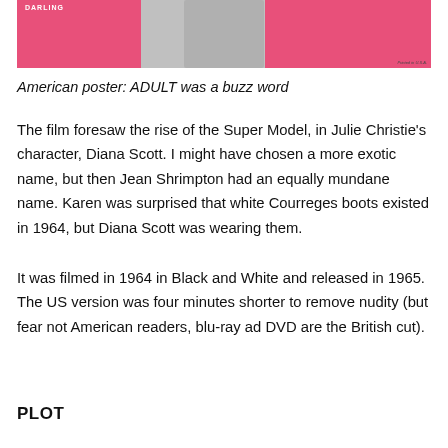[Figure (photo): American movie poster with pink background and a black-and-white photo of a person's face in the center]
American poster: ADULT was a buzz word
The film foresaw the rise of the Super Model, in Julie Christie's character, Diana Scott. I might have chosen a more exotic name, but then Jean Shrimpton had an equally mundane name. Karen was surprised that white Courreges boots existed in 1964, but Diana Scott was wearing them.
It was filmed in 1964 in Black and White and released in 1965. The US version was four minutes shorter to remove nudity (but fear not American readers, blu-ray ad DVD are the British cut).
PLOT